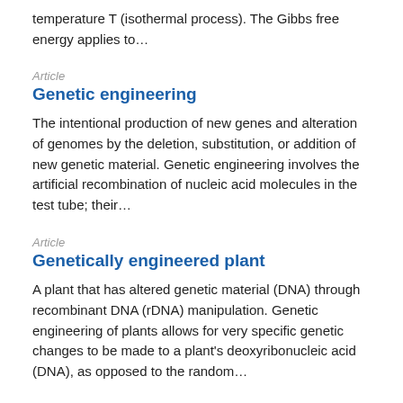temperature T (isothermal process). The Gibbs free energy applies to…
Article
Genetic engineering
The intentional production of new genes and alteration of genomes by the deletion, substitution, or addition of new genetic material. Genetic engineering involves the artificial recombination of nucleic acid molecules in the test tube; their…
Article
Genetically engineered plant
A plant that has altered genetic material (DNA) through recombinant DNA (rDNA) manipulation. Genetic engineering of plants allows for very specific genetic changes to be made to a plant's deoxyribonucleic acid (DNA), as opposed to the random…